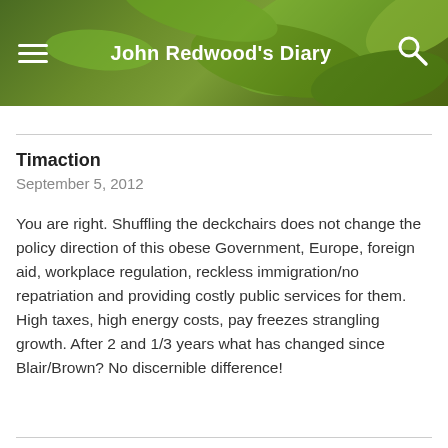John Redwood's Diary
Timaction
September 5, 2012
You are right. Shuffling the deckchairs does not change the policy direction of this obese Government, Europe, foreign aid, workplace regulation, reckless immigration/no repatriation and providing costly public services for them. High taxes, high energy costs, pay freezes strangling growth. After 2 and 1/3 years what has changed since Blair/Brown? No discernible difference!